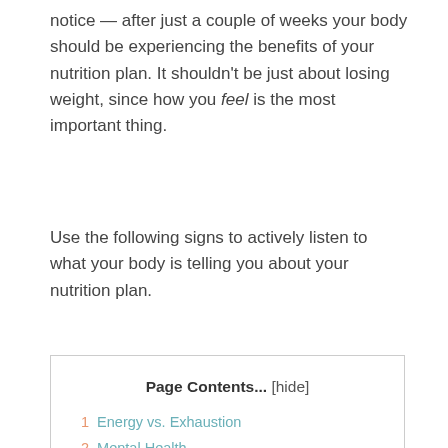notice — after just a couple of weeks your body should be experiencing the benefits of your nutrition plan. It shouldn't be just about losing weight, since how you feel is the most important thing.
Use the following signs to actively listen to what your body is telling you about your nutrition plan.
| Page Contents... [hide] |
| 1 Energy vs. Exhaustion |
| 2 Mental Health |
| 3 Digestion |
| 4 Immune System Function |
| 5 Food Cravings |